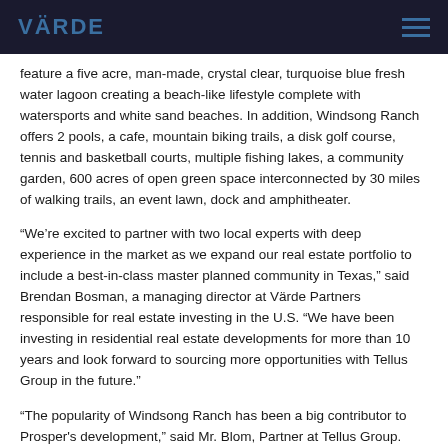VÄRDE
feature a five acre, man-made, crystal clear, turquoise blue fresh water lagoon creating a beach-like lifestyle complete with watersports and white sand beaches. In addition, Windsong Ranch offers 2 pools, a cafe, mountain biking trails, a disk golf course, tennis and basketball courts, multiple fishing lakes, a community garden, 600 acres of open green space interconnected by 30 miles of walking trails, an event lawn, dock and amphitheater.
“We’re excited to partner with two local experts with deep experience in the market as we expand our real estate portfolio to include a best-in-class master planned community in Texas,” said Brendan Bosman, a managing director at Värde Partners responsible for real estate investing in the U.S. “We have been investing in residential real estate developments for more than 10 years and look forward to sourcing more opportunities with Tellus Group in the future.”
“The popularity of Windsong Ranch has been a big contributor to Prosper's development,” said Mr. Blom, Partner at Tellus Group. “Our new partners share our vision of continuing that growth and we are making exciting inroads in similar projects. We will